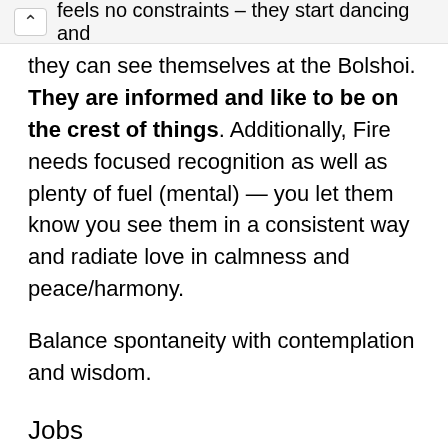feels no constraints – they start dancing and they can see themselves at the Bolshoi. They are informed and like to be on the crest of things. Additionally, Fire needs focused recognition as well as plenty of fuel (mental) — you let them know you see them in a consistent way and radiate love in calmness and peace/harmony.
Balance spontaneity with contemplation and wisdom.
Jobs
Leadership
management
advertising
fashion